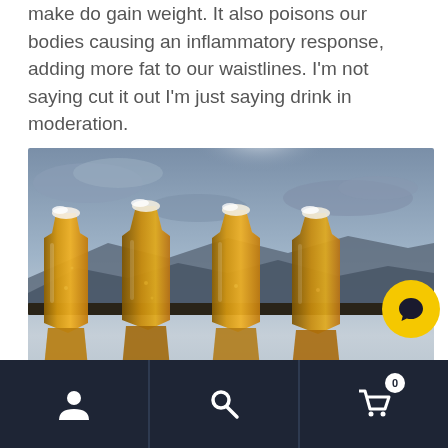make do gain weight. It also poisons our bodies causing an inflammatory response, adding more fat to our waistlines. I'm not saying cut it out I'm just saying drink in moderation.
[Figure (photo): Four tall glasses of beer lined up on a balcony railing with a dramatic cloudy sky and mountains/ocean in the background. The glasses have a classic hourglass pint shape with golden amber beer and white foam heads.]
[Figure (other): Yellow circular chat button with a message/chat icon in the bottom right overlay.]
Navigation bar with user icon, search icon, and cart icon (0 items)